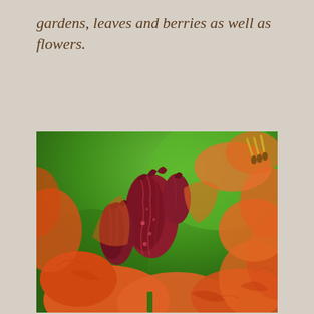gardens, leaves and berries as well as flowers.
[Figure (photo): Close-up macro photograph of orange rhododendron or azalea flowers with dark red-purple buds in the center, set against a bright green background.]